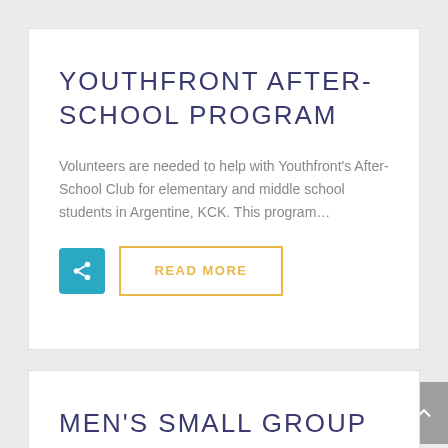YOUTHFRONT AFTER-SCHOOL PROGRAM
Volunteers are needed to help with Youthfront's After-School Club for elementary and middle school students in Argentine, KCK. This program…
MEN'S SMALL GROUP